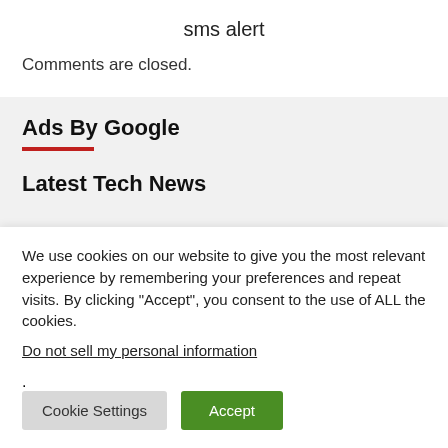sms alert
Comments are closed.
Ads By Google
Latest Tech News
We use cookies on our website to give you the most relevant experience by remembering your preferences and repeat visits. By clicking “Accept”, you consent to the use of ALL the cookies.
Do not sell my personal information.